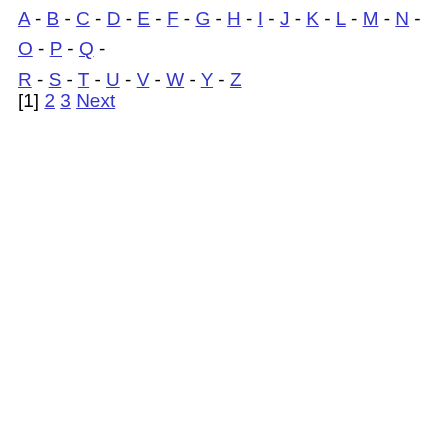A - B - C - D - E - F - G - H - I - J - K - L - M - N - O - P - Q - R - S - T - U - V - W - Y - Z
[1] 2 3 Next